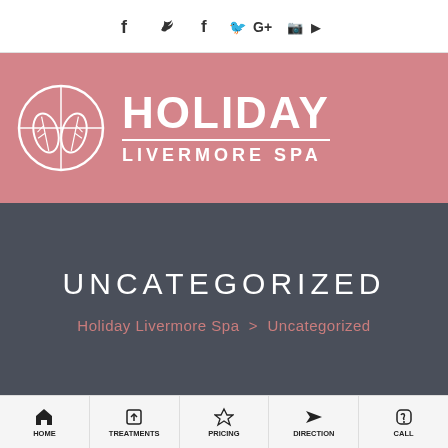[Figure (logo): Social media icons bar: Facebook, Twitter, Google+, Instagram, YouTube]
[Figure (logo): Holiday Livermore Spa logo with circular leaf emblem on pink background]
UNCATEGORIZED
Holiday Livermore Spa > Uncategorized
HOME | TREATMENTS | PRICING | DIRECTION | CALL